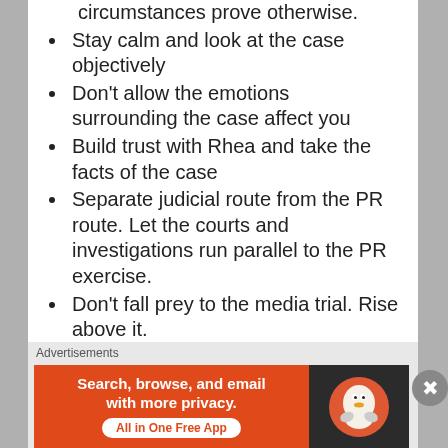circumstances prove otherwise.
Stay calm and look at the case objectively
Don't allow the emotions surrounding the case affect you
Build trust with Rhea and take the facts of the case
Separate judicial route from the PR route. Let the courts and investigations run parallel to the PR exercise.
Don't fall prey to the media trial. Rise above it.
Think of long-term solutions instead of tactical steps to patch-up the happenings
Lie low, don't indulge in desperate attempts to "Tell Rhea's story". Understand where the
[Figure (infographic): DuckDuckGo advertisement banner: orange left side with text 'Search, browse, and email with more privacy. All in One Free App' and dark right side with DuckDuckGo logo. Labeled 'Advertisements' above.]